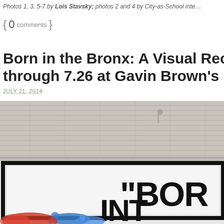Photos 1, 3, 5-7 by Lois Stavsky; photos 2 and 4 by City-as-School inte…
{ 0 comments }
Born in the Bronx: A Visual Record of the Early… through 7.26 at Gavin Brown's Enterprise in the…
JULY 21, 2014
[Figure (photo): Photograph of a graffiti mural on a brick wall. The top portion shows a white-painted brick wall exterior. Below is a large framed white panel with bold black graffiti lettering reading 'BOR' and 'INT' partially visible, with colorful blue and red graffiti elements at the bottom.]